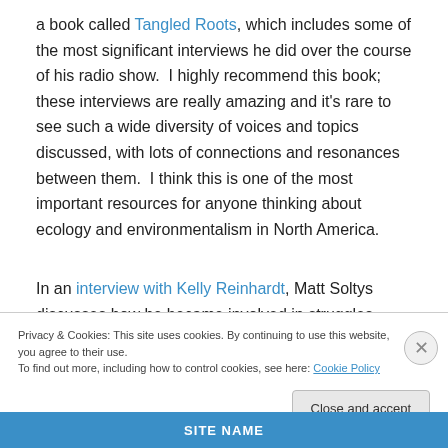a book called Tangled Roots, which includes some of the most significant interviews he did over the course of his radio show.  I highly recommend this book; these interviews are really amazing and it’s rare to see such a wide diversity of voices and topics discussed, with lots of connections and resonances between them.  I think this is one of the most important resources for anyone thinking about ecology and environmentalism in North America.
In an interview with Kelly Reinhardt, Matt Soltys discusses how he became involved in struggles around ecology,
Privacy & Cookies: This site uses cookies. By continuing to use this website, you agree to their use.
To find out more, including how to control cookies, see here: Cookie Policy